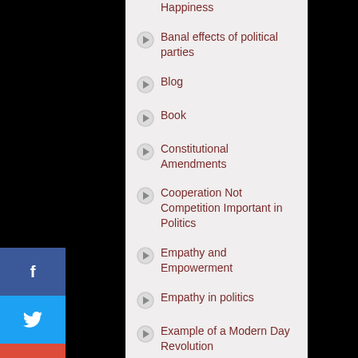Happiness
Banal effects of political parties
Blog
Book
Constitutional Amendments
Cooperation Not Competition Important in Politics
Empathy and Empowerment
Empathy in politics
Example of a Modern Day Revolution
Extremism
Extremism is antithetical to compromise